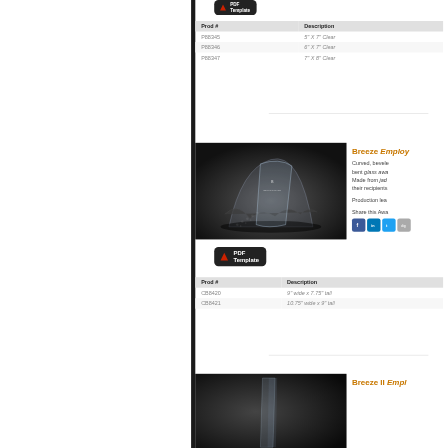[Figure (other): PDF Template button (top)]
| Prod # | Description |
| --- | --- |
| P88345 | 5" X 7" Clear |
| P88346 | 6" X 7" Clear |
| P88347 | 7" X 8" Clear |
[Figure (photo): Black and white photo of curved beveled glass award on dark background]
Breeze Employ...
Curved, beveled... bent glass awa... Made from jade... their recipients...
Production lea...
Share this Awa...
[Figure (other): PDF Template button (second)]
| Prod # | Description |
| --- | --- |
| CB8420 | 9" wide x 7.75" tall |
| CB8421 | 10.75" wide x 9" tall |
[Figure (photo): Partial photo of another award at bottom]
Breeze II Empl...